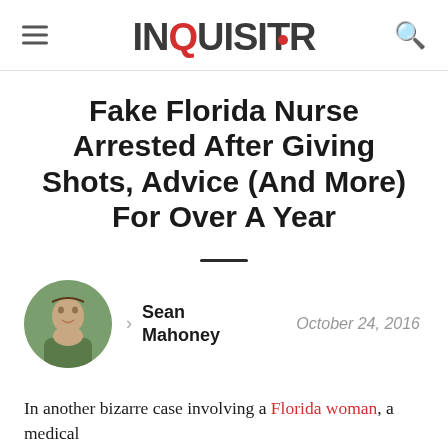INQUISITR
Fake Florida Nurse Arrested After Giving Shots, Advice (And More) For Over A Year
Sean Mahoney
October 24, 2016
In another bizarre case involving a Florida woman, a medical